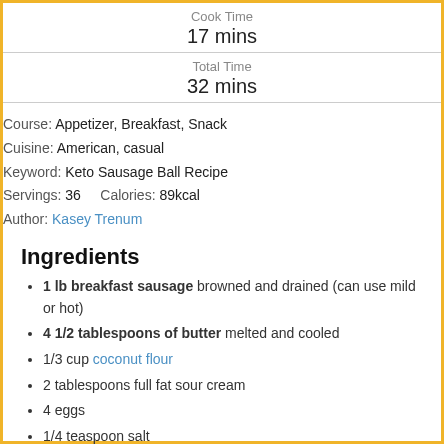Cook Time
17 mins
Total Time
32 mins
Course: Appetizer, Breakfast, Snack
Cuisine: American, casual
Keyword: Keto Sausage Ball Recipe
Servings: 36    Calories: 89kcal
Author: Kasey Trenum
Ingredients
1 lb breakfast sausage browned and drained (can use mild or hot)
4 1/2 tablespoons of butter melted and cooled
1/3 cup coconut flour
2 tablespoons full fat sour cream
4 eggs
1/4 teaspoon salt